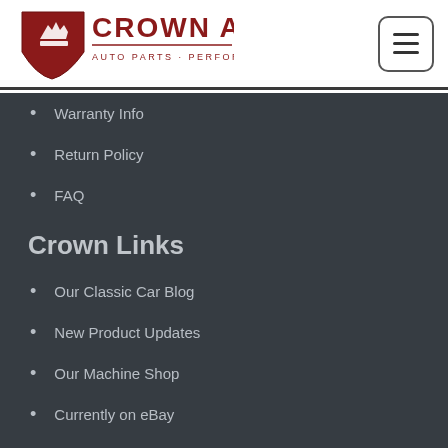Crown Auto — Auto Parts · Performance · Rebuilding
Warranty Info
Return Policy
FAQ
Crown Links
Our Classic Car Blog
New Product Updates
Our Machine Shop
Currently on eBay
Client Rides Gallery
Performance & Rebuilding
Auto Parts Rebuilding